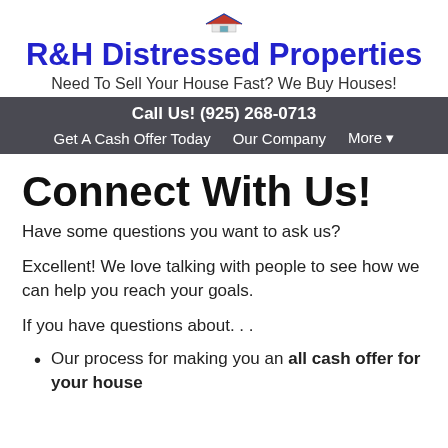[Figure (logo): Small house/property logo icon]
R&H Distressed Properties
Need To Sell Your House Fast? We Buy Houses!
Call Us! (925) 268-0713
Get A Cash Offer Today   Our Company   More ▾
Connect With Us!
Have some questions you want to ask us?
Excellent! We love talking with people to see how we can help you reach your goals.
If you have questions about. . .
Our process for making you an all cash offer for your house